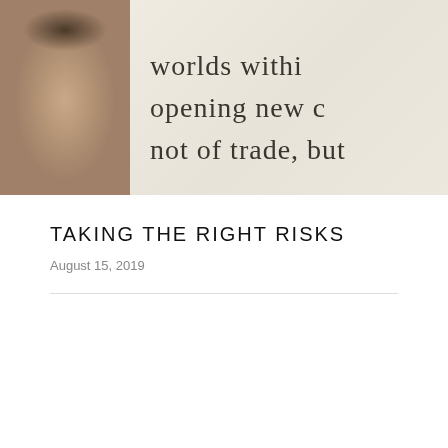[Figure (illustration): Decorative header image showing a portrait of a historical figure on the left side against a warm beige background, with handwritten cursive script text on the right reading partial lines: 'worlds withi', 'opening new c', 'not of trade, but']
TAKING THE RIGHT RISKS
August 15, 2019